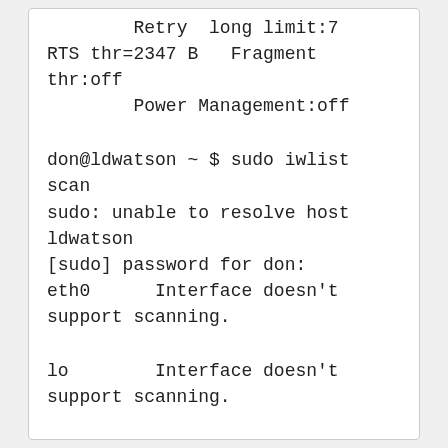Retry  long limit:7   RTS thr=2347 B   Fragment thr:off
          Power Management:off
don@ldwatson ~ $ sudo iwlist scan
sudo: unable to resolve host ldwatson
[sudo] password for don:
eth0      Interface doesn't support scanning.
lo        Interface doesn't support scanning.